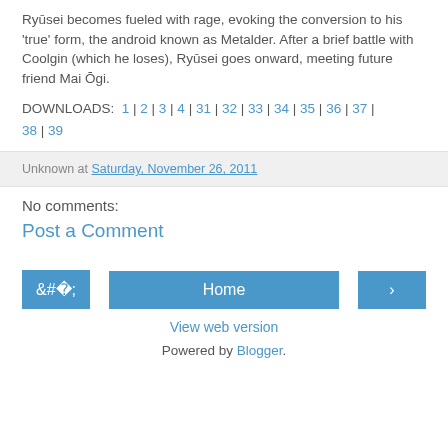Ryūsei becomes fueled with rage, evoking the conversion to his 'true' form, the android known as Metalder. After a brief battle with Coolgin (which he loses), Ryūsei goes onward, meeting future friend Mai Ōgi.
DOWNLOADS: 1 | 2 | 3 | 4 | 31 | 32 | 33 | 34 | 35 | 36 | 37 | 38 | 39
Unknown at Saturday, November 26, 2011
No comments:
Post a Comment
Home
View web version
Powered by Blogger.